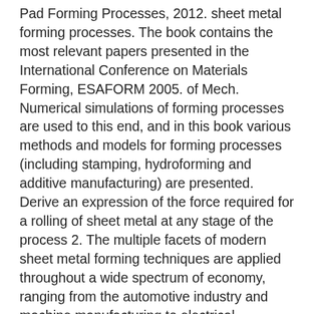Pad Forming Processes, 2012. sheet metal forming processes. The book contains the most relevant papers presented in the International Conference on Materials Forming, ESAFORM 2005. of Mech. Numerical simulations of forming processes are used to this end, and in this book various methods and models for forming processes (including stamping, hydroforming and additive manufacturing) are presented. Derive an expression of the force required for a rolling of sheet metal at any stage of the process 2. The multiple facets of modern sheet metal forming techniques are applied throughout a wide spectrum of economy, ranging from the automotive industry and machine manufacturing to electrical engineering and electronics. Principles of Industrial Metal working Processes by G.W. Search for more papers by this author. Economical and flexible, advanced metal forming processes form the